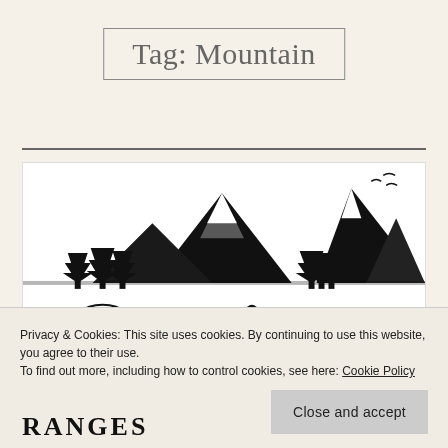Tag: Mountain
[Figure (illustration): Black and white illustration of mountain ranges with pine trees, birds flying, and camping tents in a scenic outdoor setting]
Privacy & Cookies: This site uses cookies. By continuing to use this website, you agree to their use.
To find out more, including how to control cookies, see here: Cookie Policy
Close and accept
RANGES